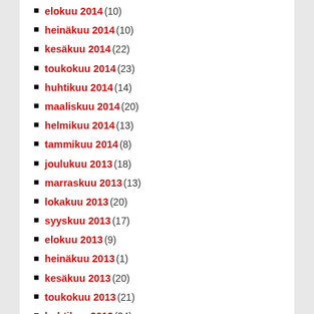elokuu 2014 (10)
heinäkuu 2014 (10)
kesäkuu 2014 (22)
toukokuu 2014 (23)
huhtikuu 2014 (14)
maaliskuu 2014 (20)
helmikuu 2014 (13)
tammikuu 2014 (8)
joulukuu 2013 (18)
marraskuu 2013 (13)
lokakuu 2013 (20)
syyskuu 2013 (17)
elokuu 2013 (9)
heinäkuu 2013 (1)
kesäkuu 2013 (20)
toukokuu 2013 (21)
huhtikuu 2013 (34)
maaliskuu 2013 (15)
helmikuu 2013 (23)
tammikuu 2013 (6)